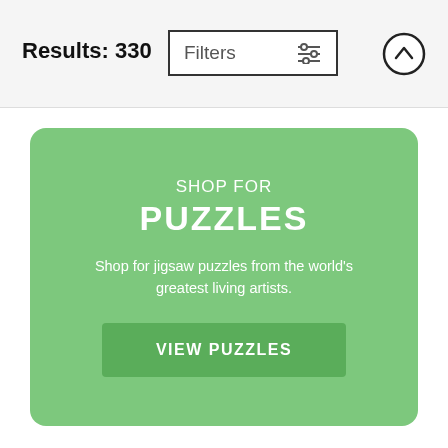Results: 330
[Figure (screenshot): Filters button with sliders icon and scroll-up arrow button]
[Figure (infographic): Green rounded card with 'SHOP FOR PUZZLES' heading, description text, and VIEW PUZZLES button]